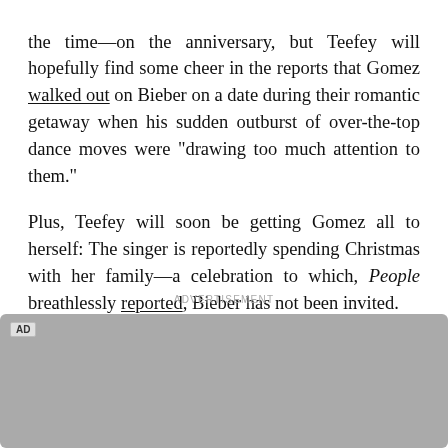the time—on the anniversary, but Teefey will hopefully find some cheer in the reports that Gomez walked out on Bieber on a date during their romantic getaway when his sudden outburst of over-the-top dance moves were "drawing too much attention to them."

Plus, Teefey will soon be getting Gomez all to herself: The singer is reportedly spending Christmas with her family—a celebration to which, People breathlessly reported, Bieber has not been invited.
ADVERTISEMENT
[Figure (other): Gray advertisement placeholder box with 'AD' label in the top-left corner]